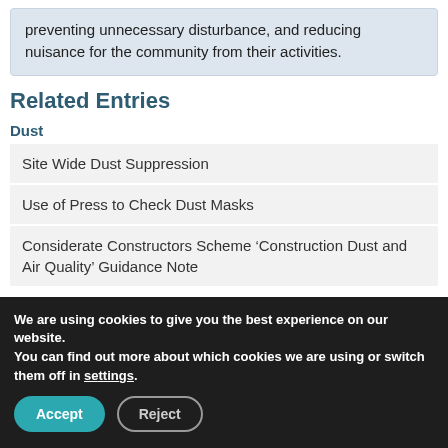preventing unnecessary disturbance, and reducing nuisance for the community from their activities.
Related Entries
Dust
Site Wide Dust Suppression
Use of Press to Check Dust Masks
Considerate Constructors Scheme ‘Construction Dust and Air Quality’ Guidance Note
Noise
Noise and Vibration Mitigation
We are using cookies to give you the best experience on our website.
You can find out more about which cookies we are using or switch them off in settings.